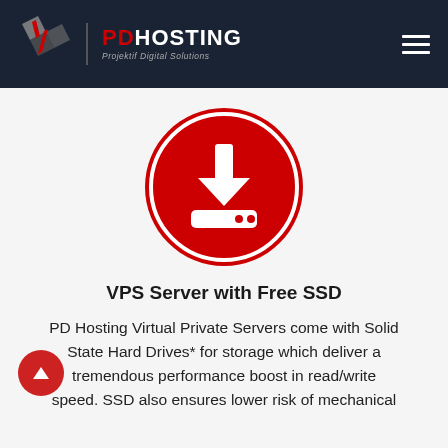PD HOSTING — Projektif Digital Solutions
[Figure (illustration): Red circle icon with a white download/server icon (down arrow above a server device with two dots) inside, surrounded by a thin white ring border, on a light grey background]
VPS Server with Free SSD
PD Hosting Virtual Private Servers come with Solid State Hard Drives* for storage which deliver a tremendous performance boost in read/write speed. SSD also ensures lower risk of mechanical